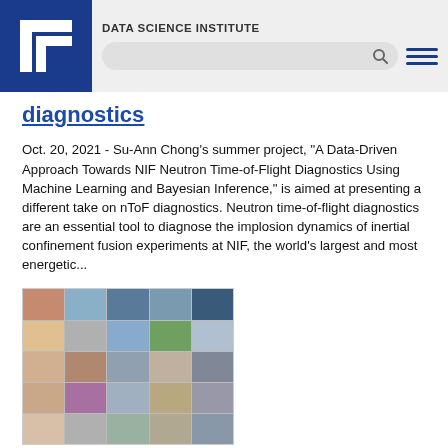DATA SCIENCE INSTITUTE
diagnostics
Oct. 20, 2021 - Su-Ann Chong's summer project, “A Data-Driven Approach Towards NIF Neutron Time-of-Flight Diagnostics Using Machine Learning and Bayesian Inference,” is aimed at presenting a different take on nToF diagnostics. Neutron time-of-flight diagnostics are an essential tool to diagnose the implosion dynamics of inertial confinement fusion experiments at NIF, the world’s largest and most energetic...
[Figure (photo): Grid of video call participants, approximately 25 thumbnails arranged in a 5x5 grid showing faces of various participants in an online meeting]
Data Science Challenge welcomes UC Riverside